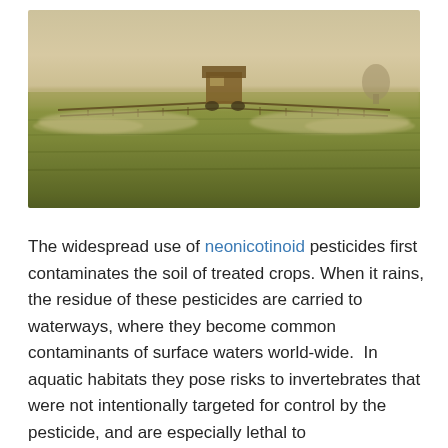[Figure (photo): A large agricultural sprayer machine driving across a green crop field, spraying pesticides on both sides. The scene is set at golden hour with a hazy sky and a distant tree on the right horizon. Mist from the sprayer extends wide across the field.]
The widespread use of neonicotinoid pesticides first contaminates the soil of treated crops. When it rains, the residue of these pesticides are carried to waterways, where they become common contaminants of surface waters world-wide.  In aquatic habitats they pose risks to invertebrates that were not intentionally targeted for control by the pesticide, and are especially lethal to